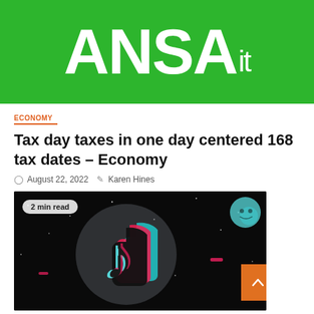[Figure (logo): ANSAit green logo banner with white bold ANSA text and smaller regular 'it' suffix on green background]
ECONOMY
Tax day taxes in one day centered 168 tax dates – Economy
August 22, 2022  Karen Hines
[Figure (photo): TikTok logo on dark/black background with colorful teal and pink logo marks, with a '2 min read' badge overlay and an orange scroll-to-top button]